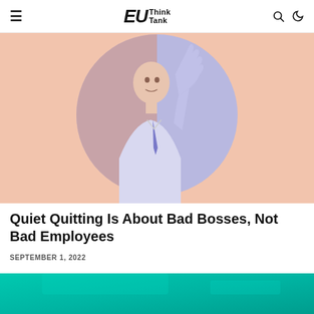EU Think Tank
[Figure (photo): Illustration of a person in a suit with a hand raised, split between warm peach/terracotta tones on the left and cool blue/lavender tones on the right, set against a peach background]
Quiet Quitting Is About Bad Bosses, Not Bad Employees
SEPTEMBER 1, 2022
[Figure (photo): Teal/turquoise gradient background image, partially visible at bottom of page]